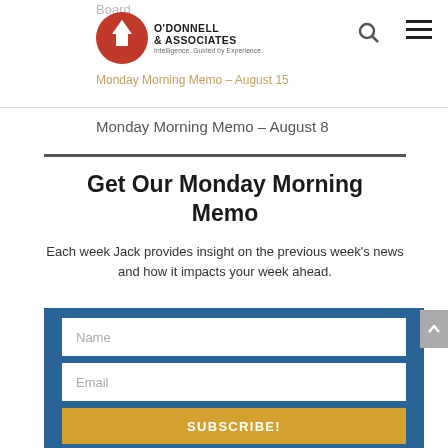O'Donnell & Associates — Intelligence. Guided by Experience.
Board
Monday Morning Memo – August 15
Monday Morning Memo – August 8
Get Our Monday Morning Memo
Each week Jack provides insight on the previous week's news and how it impacts your week ahead.
Name
Email
SUBSCRIBE!